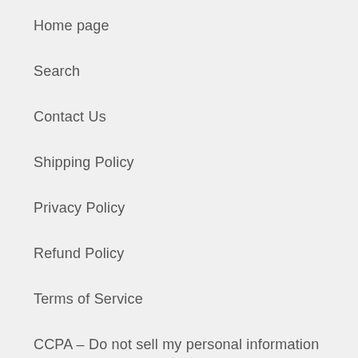Home page
Search
Contact Us
Shipping Policy
Privacy Policy
Refund Policy
Terms of Service
CCPA – Do not sell my personal information